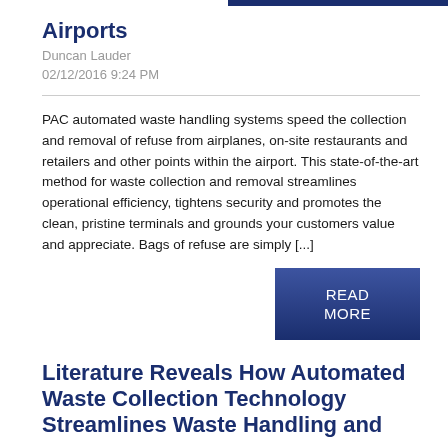Airports
Duncan Lauder
02/12/2016 9:24 PM
PAC automated waste handling systems speed the collection and removal of refuse from airplanes, on-site restaurants and retailers and other points within the airport. This state-of-the-art method for waste collection and removal streamlines operational efficiency, tightens security and promotes the clean, pristine terminals and grounds your customers value and appreciate. Bags of refuse are simply [...]
READ MORE
Literature Reveals How Automated Waste Collection Technology Streamlines Waste Handling and